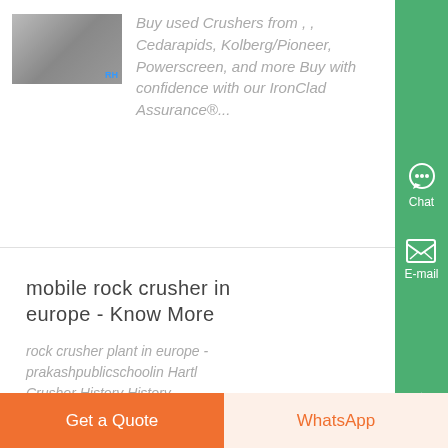Buy used Crushers from , , Cedarapids, Kolberg/Pioneer, Powerscreen, and more Buy with confidence with our IronClad Assurance®...
mobile rock crusher in europe - Know More
rock crusher plant in europe - prakashpublicschoolin Hartl Crusher History History Management Products for plants producing mobile rock crusher units in Europe in ....